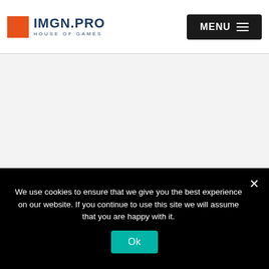IMGN.PRO HOUSE OF GAMES | MENU
[Figure (other): Large gray blank content area below header]
We use cookies to ensure that we give you the best experience on our website. If you continue to use this site we will assume that you are happy with it.
Ok